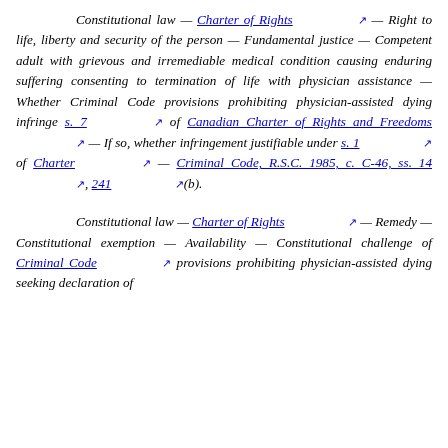Constitutional law — Charter of Rights [ext] — Right to life, liberty and security of the person — Fundamental justice — Competent adult with grievous and irremediable medical condition causing enduring suffering consenting to termination of life with physician assistance — Whether Criminal Code provisions prohibiting physician-assisted dying infringe s. 7 [ext] of Canadian Charter of Rights and Freedoms [ext] — If so, whether infringement justifiable under s. 1 [ext] of Charter [ext] — Criminal Code, R.S.C. 1985, c. C-46, ss. 14 [ext], 241 [ext](b).
Constitutional law — Charter of Rights [ext] — Remedy — Constitutional exemption — Availability — Constitutional challenge of Criminal Code [ext] provisions prohibiting physician-assisted dying seeking declaration of...